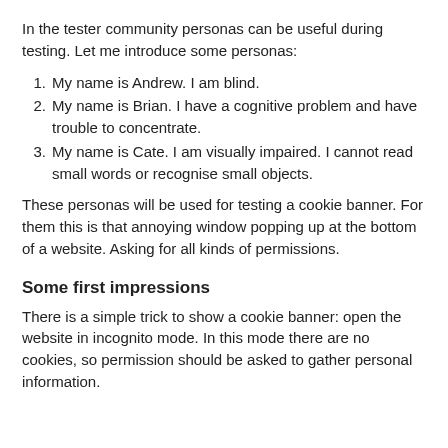In the tester community personas can be useful during testing. Let me introduce some personas:
My name is Andrew. I am blind.
My name is Brian. I have a cognitive problem and have trouble to concentrate.
My name is Cate. I am visually impaired. I cannot read small words or recognise small objects.
These personas will be used for testing a cookie banner. For them this is that annoying window popping up at the bottom of a website. Asking for all kinds of permissions.
Some first impressions
There is a simple trick to show a cookie banner: open the website in incognito mode. In this mode there are no cookies, so permission should be asked to gather personal information.